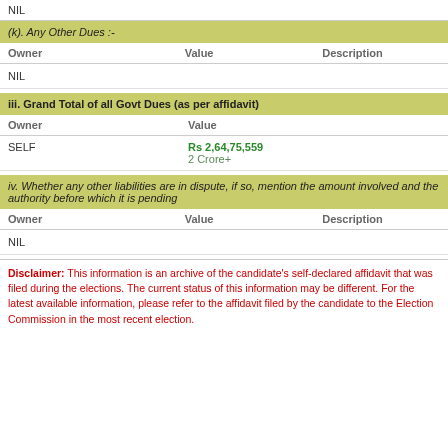NIL
(k). Any Other Dues :-
| Owner | Value | Description |
| --- | --- | --- |
| NIL |  |  |
iii. Grand Total of all Govt Dues (as per affidavit)
| Owner | Value |
| --- | --- |
| SELF | Rs 2,64,75,559
2 Crore+ |
iv. Whether any other liabilities are in dispute, if so, mention the amount involved and the authority before which it is pending
| Owner | Value | Description |
| --- | --- | --- |
| NIL |  |  |
Disclaimer: This information is an archive of the candidate’s self-declared affidavit that was filed during the elections. The current status of this information may be different. For the latest available information, please refer to the affidavit filed by the candidate to the Election Commission in the most recent election.